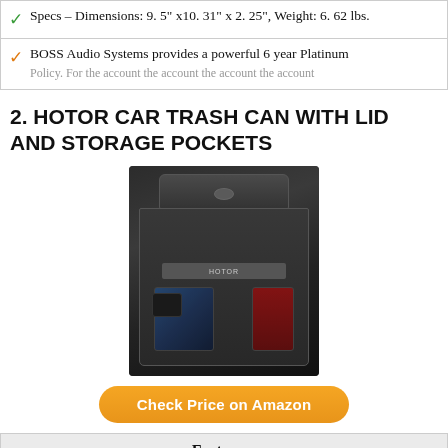Specs – Dimensions: 9. 5" x10. 31" x 2. 25", Weight: 6. 62 lbs.
BOSS Audio Systems provides a powerful 6 year Platinum Policy. For the...
2. HOTOR CAR TRASH CAN WITH LID AND STORAGE POCKETS
[Figure (photo): Photo of a black HOTOR car trash can with lid and storage pockets, hanging in a vehicle interior. The can has mesh pockets on the sides, a dark textured exterior, and a lid with a handle.]
Check Price on Amazon
Features:
ADJUSTABLE STRAP & COLLAPSIBLE SHAPE – The car